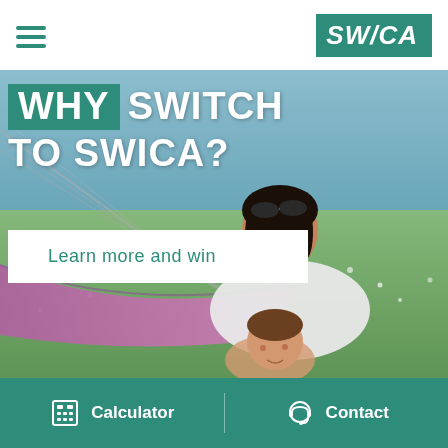[Figure (logo): SWICA insurance company logo — teal/green background with white italic bold text 'SWICA']
[Figure (photo): Woman relaxing in a purple hammock with a child, outdoors near a lake with green grass background]
WHY SWITCH TO SWICA?
Learn more and win
[Figure (infographic): Footer bar with Calculator and Contact icons on teal background]